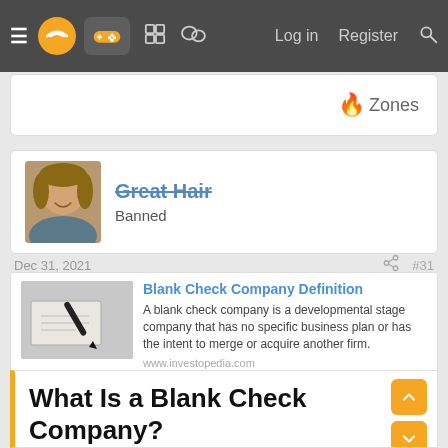≡  [logo] [gamepad] [grid] [chat]  Log in  Register  🔍
🔥 Zones
Great Hair
Banned
Dec 31, 2021  #31
Blank Check Company Definition
A blank check company is a developmental stage company that has no specific business plan or has the intent to merge or acquire another firm.
www.investopedia.com
What Is a Blank Check Company?